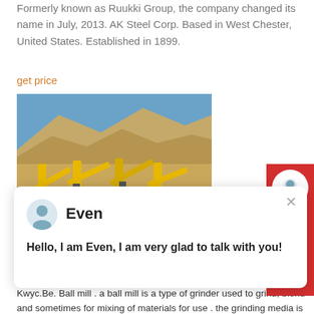Formerly known as Ruukki Group, the company changed its name in July, 2013. AK Steel Corp. Based in West Chester, United States. Established in 1899.
get price
[Figure (photo): Open-pit mine or quarry with yellow industrial equipment/conveyors against rocky hillside and blue sky.]
Even
Hello, I am Even, I am very glad to talk with you!
HIGH CHROME GOLD ORE MILL GRINDING MEDIA BALL
Grinding Ball Mill For Chrome Ore. Chrome Ore Ball Mill For Sale Kwyc.Be. Ball mill . a ball mill is a type of grinder used to grind, blend and sometimes for mixing of materials for use . the grinding media is the balls, which may be made of steel chrome steel, stainless steel, ceramic, or rubber.